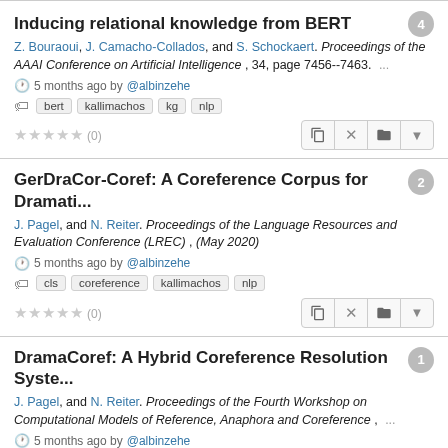Inducing relational knowledge from BERT
Z. Bouraoui, J. Camacho-Collados, and S. Schockaert. Proceedings of the AAAI Conference on Artificial Intelligence , 34, page 7456--7463.
5 months ago by @albinzehe
bert  kallimachos  kg  nlp
★★★★★ (0)
GerDraCor-Coref: A Coreference Corpus for Dramati...
J. Pagel, and N. Reiter. Proceedings of the Language Resources and Evaluation Conference (LREC) , (May 2020)
5 months ago by @albinzehe
cls  coreference  kallimachos  nlp
★★★★★ (0)
DramaCoref: A Hybrid Coreference Resolution Syste...
J. Pagel, and N. Reiter. Proceedings of the Fourth Workshop on Computational Models of Reference, Anaphora and Coreference ,
5 months ago by @albinzehe
cls  coreference  kallimachos  nlp
★★★★★ (0)